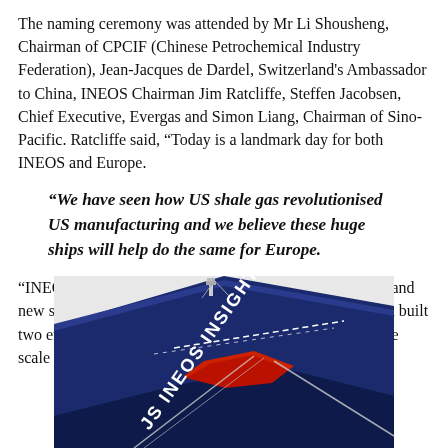The naming ceremony was attended by Mr Li Shousheng, Chairman of CPCIF (Chinese Petrochemical Industry Federation), Jean-Jacques de Dardel, Switzerland's Ambassador to China, INEOS Chairman Jim Ratcliffe, Steffen Jacobsen, Chief Executive, Evergas and Simon Liang, Chairman of Sino-Pacific. Ratcliffe said, “Today is a landmark day for both INEOS and Europe.
“We have seen how US shale gas revolutionised US manufacturing and we believe these huge ships will help do the same for Europe.
“INEOS together with Evergas has commissioned eight brand new ships, accessed hundreds of miles of new pipeline and built two enormous terminals to get US shale gas to Europe. The scale of the whole project is truly breathtaking”.
[Figure (photo): Bow of large blue ship named 'JS INEOS INSIGHT' viewed from above and front, with red and white mooring lines visible]